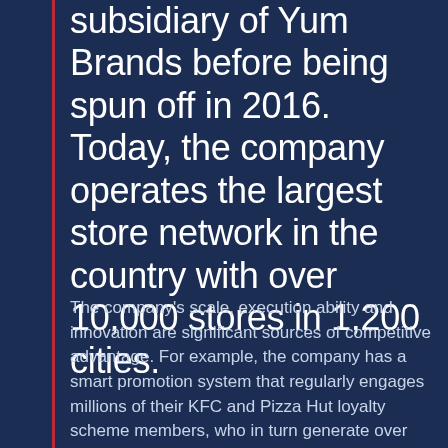subsidiary of Yum Brands before being spun off in 2016. Today, the company operates the largest store network in the country with over 10,000 stores in 1,200 cities.
The company's scale, execution ability and innovation are significant sources of competitive advantage. For example, the company has a smart promotion system that regularly engages millions of their KFC and Pizza Hut loyalty scheme members, who in turn generate over 50% of